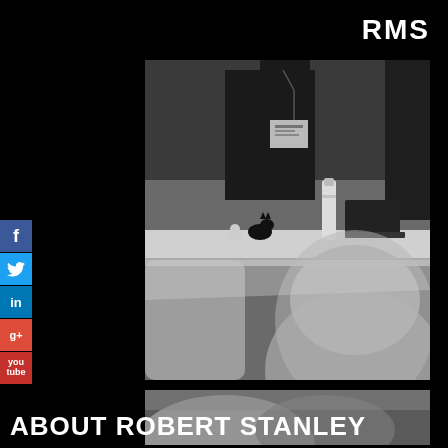RMS
[Figure (photo): Black and white photo of people at a conference table, with a person wearing a lanyard standing in background and a blurred figure in the foreground, with small figurines visible on the table]
[Figure (photo): Partial black and white photo continuation, blurred foreground figure]
ABOUT ROBERT STANLEY